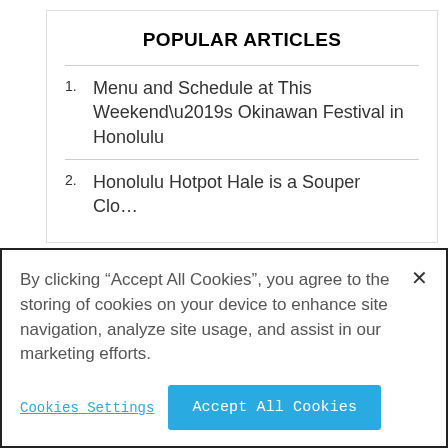POPULAR ARTICLES
Menu and Schedule at This Weekend’s Okinawan Festival in Honolulu
Honolulu Hotpot Hale is a Souper Close…
By clicking “Accept All Cookies”, you agree to the storing of cookies on your device to enhance site navigation, analyze site usage, and assist in our marketing efforts.
Cookies Settings
Accept All Cookies